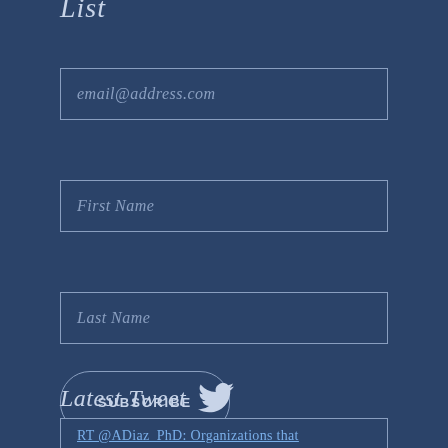List
[Figure (other): Email input field with placeholder text 'email@address.com']
[Figure (other): First Name input field with placeholder text 'First Name']
[Figure (other): Last Name input field with placeholder text 'Last Name']
[Figure (other): Subscribe button with rounded border]
Latest Tweet
RT @ADiaz_PhD: Organizations that